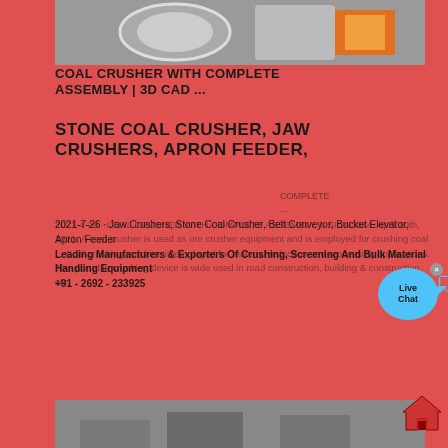[Figure (photo): Top partial image of a coal crusher machine with red circular parts, partially visible]
COAL CRUSHER WITH COMPLETE ASSEMBLY | 3D CAD ...
STONE COAL CRUSHER, JAW CRUSHERS, APRON FEEDER,
2021-4-20 · COAL CRUSHER WITH COMPLETE ASSEMBLY. b SIGN3044. April 20th, 2021. A coal crusher is used as ore crusher equipment and is employed for crushing coal... Coal crushing machine is employed for material reduction and processing applications. This portable crushing device is wide used in road construction, building & construction, etc.
2021-7-26 · Jaw Crushers, Stone Coal Crusher, Belt Conveyor, Bucket Elevator, Apron Feeder Leading Manufacturers & Exporters Of Crushing, Screening And Bulk Material Handling Equipment +91 - 2692 - 233925
[Figure (photo): Bottom image showing multiple crushing machines (hammer mills/crushers) with red wheels and yellow-white bodies in an outdoor industrial yard with cylindrical rollers in background]